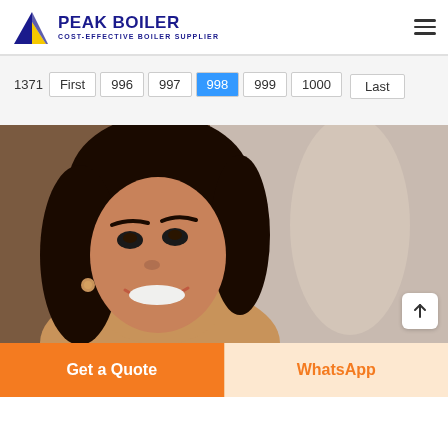PEAK BOILER COST-EFFECTIVE BOILER SUPPLIER
1371 First 996 997 998 999 1000 Last
[Figure (photo): Close-up photo of a smiling woman with dark hair, warm background tones]
Get a Quote
WhatsApp